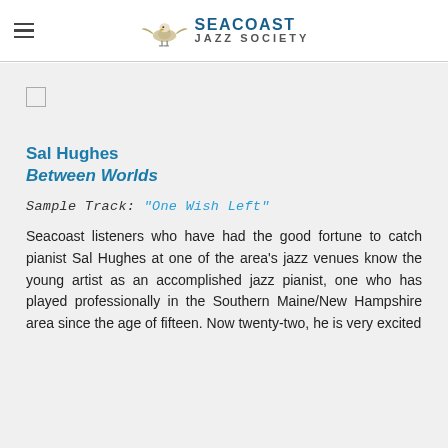Seacoast Jazz Society
Sal Hughes
Between Worlds
Sample Track: "One Wish Left"
Seacoast listeners who have had the good fortune to catch pianist Sal Hughes at one of the area's jazz venues know the young artist as an accomplished jazz pianist, one who has played professionally in the Southern Maine/New Hampshire area since the age of fifteen. Now twenty-two, he is very excited